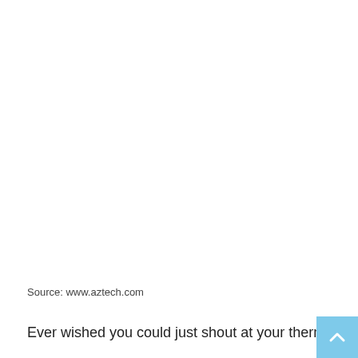Source: www.aztech.com
Ever wished you could just shout at your thermostat and it